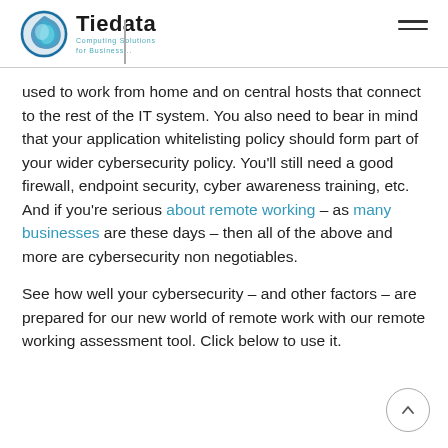Tiedata Computing Solutions for Business...
used to work from home and on central hosts that connect to the rest of the IT system. You also need to bear in mind that your application whitelisting policy should form part of your wider cybersecurity policy. You’ll still need a good firewall, endpoint security, cyber awareness training, etc. And if you’re serious about remote working – as many businesses are these days – then all of the above and more are cybersecurity non negotiables.
See how well your cybersecurity – and other factors – are prepared for our new world of remote work with our remote working assessment tool. Click below to use it.